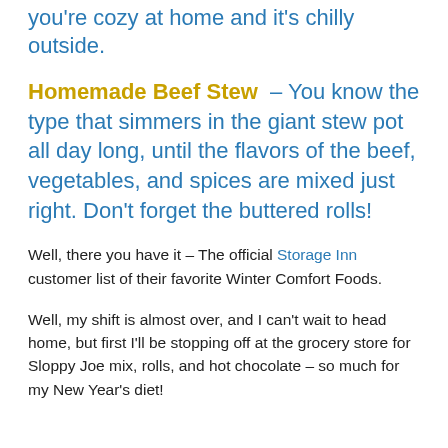you're cozy at home and it's chilly outside.
Homemade Beef Stew – You know the type that simmers in the giant stew pot all day long, until the flavors of the beef, vegetables, and spices are mixed just right. Don't forget the buttered rolls!
Well, there you have it – The official Storage Inn customer list of their favorite Winter Comfort Foods.
Well, my shift is almost over, and I can't wait to head home, but first I'll be stopping off at the grocery store for Sloppy Joe mix, rolls, and hot chocolate – so much for my New Year's diet!